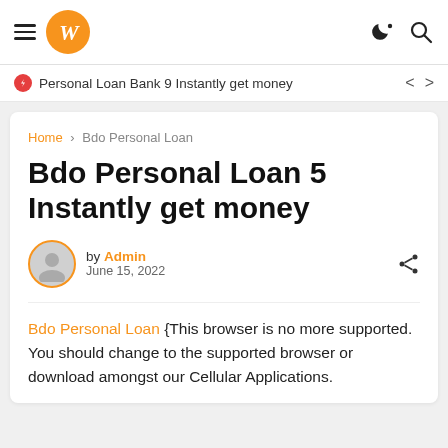W (logo) | navigation bar with hamburger menu, moon/night icon, search icon
Personal Loan Bank 9 Instantly get money
Home › Bdo Personal Loan
Bdo Personal Loan 5 Instantly get money
by Admin
June 15, 2022
Bdo Personal Loan {This browser is no more supported. You should change to the supported browser or download amongst our Cellular Applications.